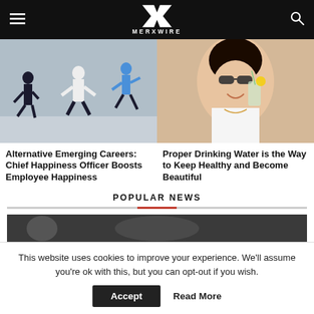MERXWIRE
[Figure (photo): Group of people jumping energetically in an office or corridor, wearing business casual clothes]
Alternative Emerging Careers: Chief Happiness Officer Boosts Employee Happiness
[Figure (photo): Smiling woman wearing sunglasses and white top, holding a glass with a drink]
Proper Drinking Water is the Way to Keep Healthy and Become Beautiful
POPULAR NEWS
[Figure (photo): Dark popular news article thumbnail image]
This website uses cookies to improve your experience. We'll assume you're ok with this, but you can opt-out if you wish.